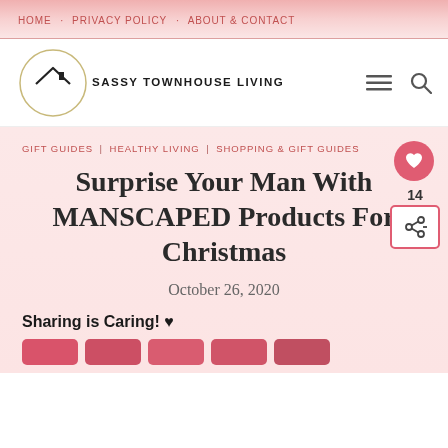HOME · PRIVACY POLICY · ABOUT & CONTACT
[Figure (logo): Sassy Townhouse Living logo with circle and house icon]
GIFT GUIDES | HEALTHY LIVING | SHOPPING & GIFT GUIDES
Surprise Your Man With MANSCAPED Products For Christmas
October 26, 2020
Sharing is Caring! ♥